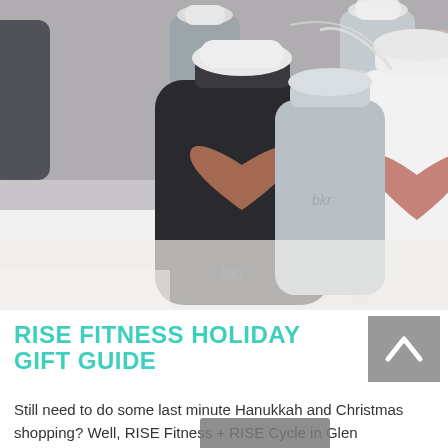[Figure (photo): Photo of bkr brand water bottles on a white surface. A dark/black frosted glass bottle with a copper/rose gold heart logo is in the foreground left. A white bottle with a rose/pink heart is in the center-right. Additional bottles in gray and other colors are visible in the background.]
RISE FITNESS HOLIDAY GIFT GUIDE
Still need to do some last minute Hanukkah and Christmas shopping? Well, RISE Fitness + RISE Cycle in Glen Ellyn [keyboard overlay] overed! The best ...